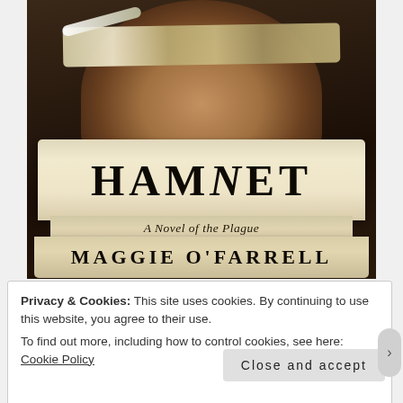[Figure (illustration): Book cover of 'Hamnet: A Novel of the Plague' by Maggie O'Farrell. A child's face with eyes obscured by a feather/blindfold band is shown against a dark background. Two scroll-like banners display the title 'HAMNET' in large serif font and below 'A Novel of the Plague' in italic, followed by the author name 'MAGGIE O'FARRELL' in bold serif capitals.]
Privacy & Cookies: This site uses cookies. By continuing to use this website, you agree to their use.
To find out more, including how to control cookies, see here: Cookie Policy
Close and accept